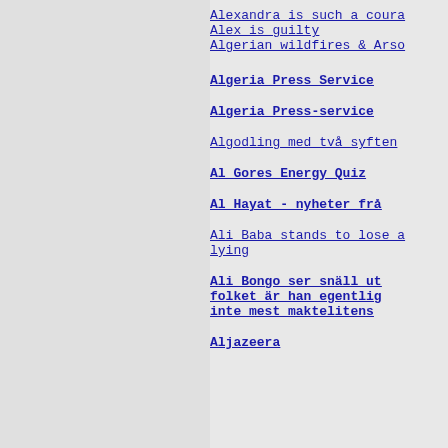Alexandra is such a coura
Alex is guilty
Algerian wildfires & Arso
Algeria Press Service
Algeria Press-service
Algodling med två syften
Al Gores Energy Quiz
Al Hayat - nyheter frå
Ali Baba stands to lose a lying
Ali Bongo ser snäll ut folket är han egentlig inte mest maktelitens
Aljazeera